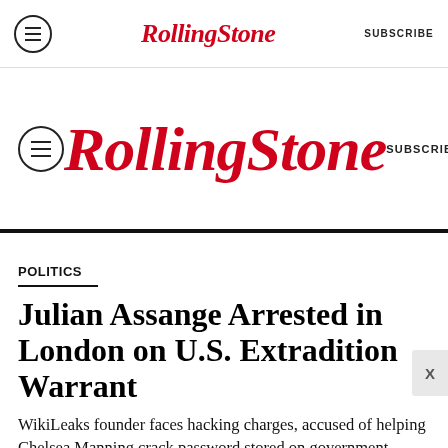Rolling Stone — SUBSCRIBE
Rolling Stone — SUBSCRIBE
POLITICS
Julian Assange Arrested in London on U.S. Extradition Warrant
WikiLeaks founder faces hacking charges, accused of helping Chelsea Manning crack password stored on government computers